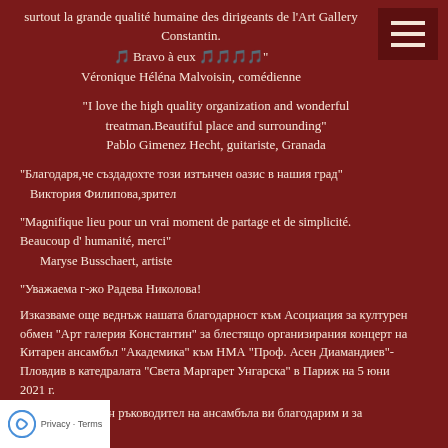surtout la grande qualité humaine des dirigeants de l'Art Gallery Constantin.
🎵 Bravo à eux 🎵🎵🎵🎵"
Véronique Héléna Malvoisin, comédienne
"I love the high quality organization and wonderful treatman.Beautiful place and surrounding"
Pablo Gimenez Hecht, guitariste, Granada
"Благодаря,че създадохте този изтънчен оазис в нашия град"
Виктория Филипова,зрител
"Magnifique lieu pour un vrai moment de partage et de simplicité. Beaucoup d' humanité, merci"
Maryse Busschaert, artiste
"Уважаема г-жо Радева Николова!
Изказваме още веднъж нашата благодарност към Асоциация за културен обмен "Арт галерия Константин" за блестящо организирания концерт на Китарен ансамбъл "Академика" към НМА "Проф. Асен Диамандиев"- Пловдив в катедралата "Света Маргарет Унгарска" в Париж на 5 юни 2021 г.
Като художествен ръководител на ансамбъла ви благодарим и за